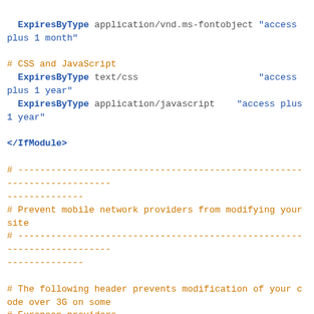ExpiresByType application/vnd.ms-fontobject "access plus 1 month"

# CSS and JavaScript
  ExpiresByType text/css                      "access plus 1 year"
  ExpiresByType application/javascript    "access plus 1 year"

</IfModule>

# -------------------------------------------------------------------------------
# Prevent mobile network providers from modifying your site
# -------------------------------------------------------------------------------

# The following header prevents modification of your code over 3G on some
# European providers.
# This is the official 'bypass' suggested by O2 in the UK.

# <IfModule mod_headers.c>
# Header set Cache-Control "no-transform"
# </IfModule>

#